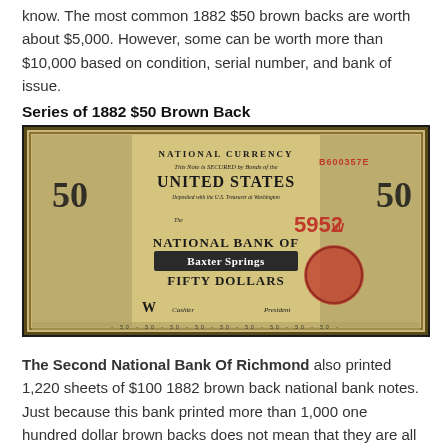know. The most common 1882 $50 brown backs are worth about $5,000. However, some can be worth more than $10,000 based on condition, serial number, and bank of issue.
Series of 1882 $50 Brown Back
[Figure (photo): An image of a Series of 1882 $50 Brown Back National Currency note from the National Bank of Baxter Springs, charter number 5952, serial number B600357E.]
The Second National Bank Of Richmond also printed 1,220 sheets of $100 1882 brown back national bank notes. Just because this bank printed more than 1,000 one hundred dollar brown backs does not mean that they are all common. We are very interested in purchasing $100 1882 brown back national bank notes. We have paid more than